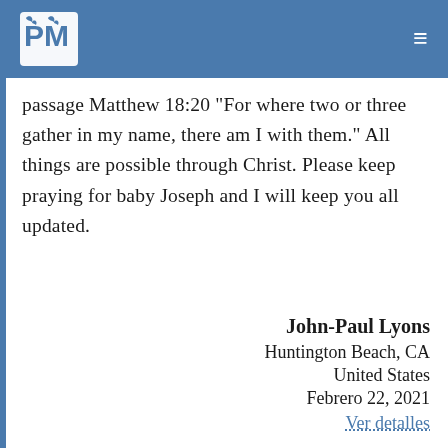PM logo and hamburger menu
passage Matthew 18:20 "For where two or three gather in my name, there am I with them." All things are possible through Christ. Please keep praying for baby Joseph and I will keep you all updated.
John-Paul Lyons
Huntington Beach, CA
United States
Febrero 22, 2021
Ver detalles